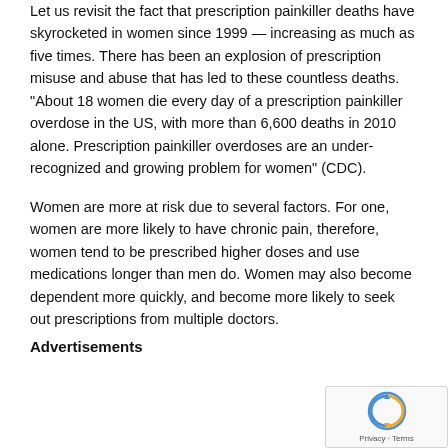Let us revisit the fact that prescription painkiller deaths have skyrocketed in women since 1999 — increasing as much as five times. There has been an explosion of prescription misuse and abuse that has led to these countless deaths. "About 18 women die every day of a prescription painkiller overdose in the US, with more than 6,600 deaths in 2010 alone. Prescription painkiller overdoses are an under-recognized and growing problem for women" (CDC).
Women are more at risk due to several factors. For one, women are more likely to have chronic pain, therefore, women tend to be prescribed higher doses and use medications longer than men do. Women may also become dependent more quickly, and become more likely to seek out prescriptions from multiple doctors.
Advertisements